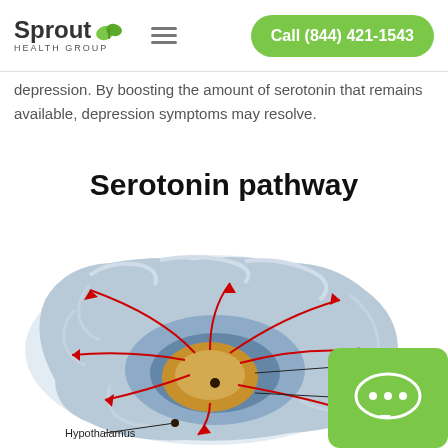Sprout Health Group — Call (844) 421-1543
depression. By boosting the amount of serotonin that remains available, depression symptoms may resolve.
Serotonin pathway
[Figure (illustration): Medical illustration of the brain showing the serotonin pathway with red arrows indicating direction of serotonin flow from the raphe nucleus to various brain regions including the hypothalamus and basal ganglia. The brain is shown in cross-section with labeled anatomical structures.]